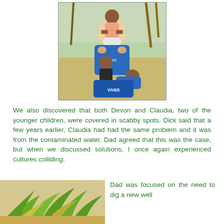[Figure (photo): An older man with a white beard wearing a blue t-shirt sits outdoors under palm trees with three children around him. Two children are in his lap and one stands behind him with arms around his neck.]
We also discovered that both Devon and Claudia, two of the younger children, were covered in scabby spots. Dick said that a few years earlier, Claudia had had the same problem and it was from the contaminated water. Dad agreed that this was the case, but when we discussed solutions, I once again experienced cultures colliding.
[Figure (photo): Partial view of tropical vegetation and palm fronds at the bottom left of the page.]
Dad was focused on the need to dig a new well